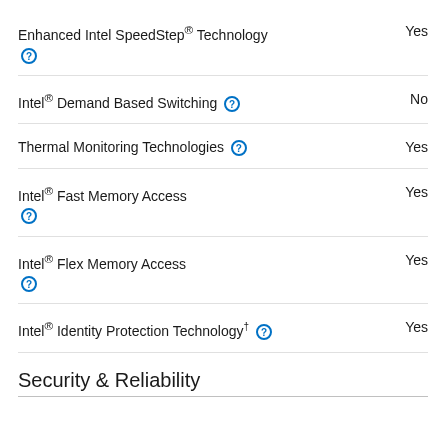Enhanced Intel SpeedStep® Technology  Yes
Intel® Demand Based Switching  No
Thermal Monitoring Technologies  Yes
Intel® Fast Memory Access  Yes
Intel® Flex Memory Access  Yes
Intel® Identity Protection Technology†  Yes
Security & Reliability